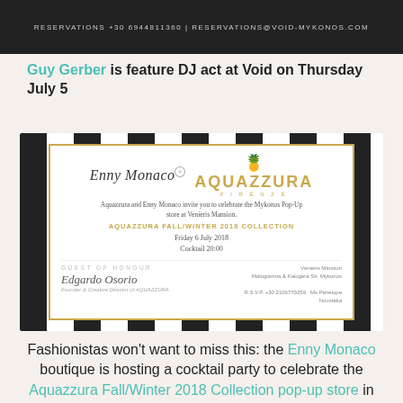[Figure (photo): Top banner image with dark background and text: RESERVATIONS +30 6944811360 | RESERVATIONS@VOID-MYKONOS.COM]
Guy Gerber is feature DJ act at Void on Thursday July 5
[Figure (other): Invitation card for Aquazzura and Enny Monaco Mykonos Pop-Up event. Features both brand logos, pineapple icon, invitation text, event details (Friday 6 July 2018, Cocktail 20:00), Guest of Honour Edgardo Osorio (Founder & Creative Director of AQUAZZURA), venue Venieris Mansion, Malogiannia & Kalogera Str. Mykonos, RSVP +30 2106770259 Ms Penelope Noustaka. Card has black/white striped border frame and gold border.]
Fashionistas won't want to miss this: the Enny Monaco boutique is hosting a cocktail party to celebrate the Aquazzura Fall/Winter 2018 Collection pop-up store in